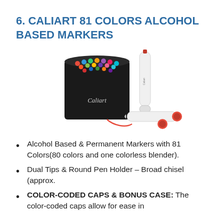6. CALIART 81 COLORS ALCOHOL BASED MARKERS
[Figure (photo): Photo of a black Caliart marker case holding 81 alcohol-based markers with colorful tips showing at the top, alongside two individual Caliart markers, one standing upright and one lying with a red cap.]
Alcohol Based & Permanent Markers with 81 Colors(80 colors and one colorless blender).
Dual Tips & Round Pen Holder – Broad chisel (approx.
COLOR-CODED CAPS & BONUS CASE: The color-coded caps allow for ease in